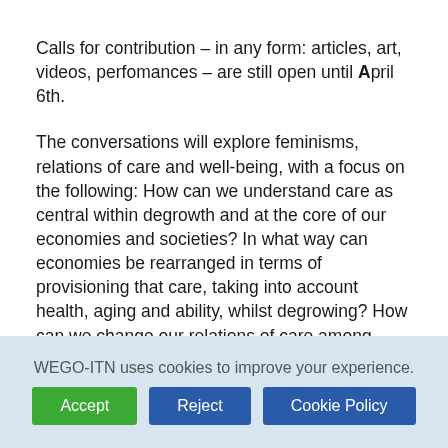Calls for contribution – in any form: articles, art, videos, perfomances – are still open until April 6th.
The conversations will explore feminisms, relations of care and well-being, with a focus on the following: How can we understand care as central within degrowth and at the core of our economies and societies? In what way can economies be rearranged in terms of provisioning that care, taking into account health, aging and ability, whilst degrowing? How can we change our relations of care among humans and more-than-human beings so that future societies are just for all living beings? How can we think about degrowth in relation to Covid19 and avoid essentializing nature when talking about these
WEGO-ITN uses cookies to improve your experience.
Accept
Reject
Cookie Policy